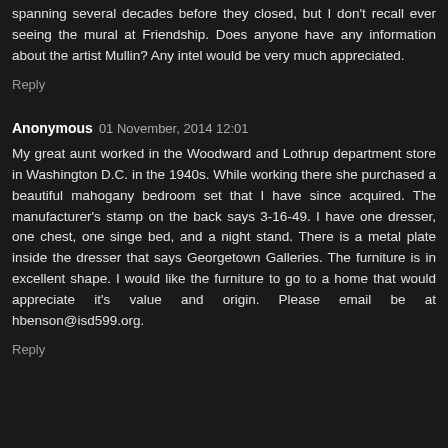spanning several decades before they closed, but I don't recall ever seeing the mural at Friendship. Does anyone have any information about the artist Mullin? Any intel would be very much appreciated.
Reply
Anonymous 01 November, 2014 12:01
My great aunt worked in the Woodward and Lothrup department store in Washington D.C. in the 1940s. While working there she purchased a beautiful mahogany bedroom set that I have since acquired. The manufacturer's stamp on the back says 3-16-49. I have one dresser, one chest, one singe bed, and a night stand. There is a metal plate inside the dresser that says Georgetown Galleries. The furniture is in excellent shape. I would like the furniture to go to a home that would appreciate it's value and origin. Please email be at hbenson@isd599.org.
Reply